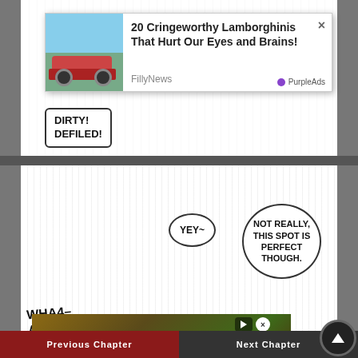[Figure (screenshot): Manga panel showing speech bubble with text DIRTY! DEFILED! with an advertisement overlay showing a Lamborghini article from FillyNews with PurpleAds badge]
[Figure (screenshot): Manga panel showing characters with speech bubbles: YEY~ and NOT REALLY, THIS SPOT IS PERFECT THOUGH. and WHA4-AAA!!? with an advertisement overlay video thumbnail and PurpleAds badge]
PREVIOUS CHAPTER   NEXT CHAPTER